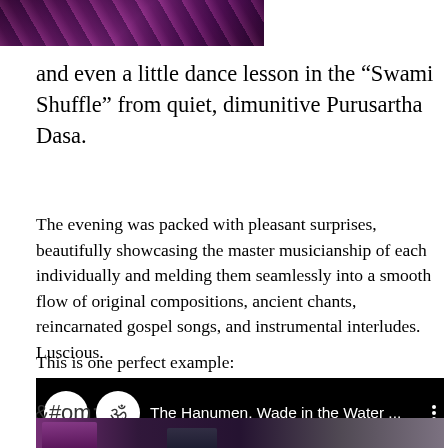[Figure (photo): Partial photo showing a dark purple-toned performance scene at the top of the page]
and even a little dance lesson in the “Swami Shuffle” from quiet, dimunitive Purusartha Dasa.
The evening was packed with pleasant surprises, beautifully showcasing the master musicianship of each individually and melding them seamlessly into a smooth flow of original compositions, ancient chants, reincarnated gospel songs, and instrumental interludes.  Luscious.
This is one perfect example:
[Figure (screenshot): YouTube video thumbnail with black background showing Om symbol icon and title 'The Hanumen, Wade in the Water ...' with three-dot menu icon, and a bottom strip showing performers in purple lighting]